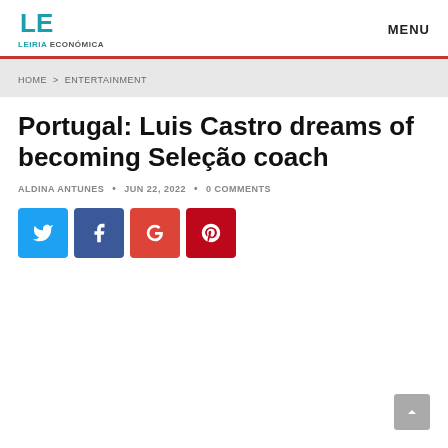LEIRIA ECONÓMICA — MENU
HOME > ENTERTAINMENT
Portugal: Luis Castro dreams of becoming Seleção coach
ALDINA ANTUNES • JUN 22, 2022 • 0 COMMENTS
[Figure (infographic): Social share buttons: Twitter (blue), Facebook (dark blue), Google+ (red-orange), Pinterest (dark red)]